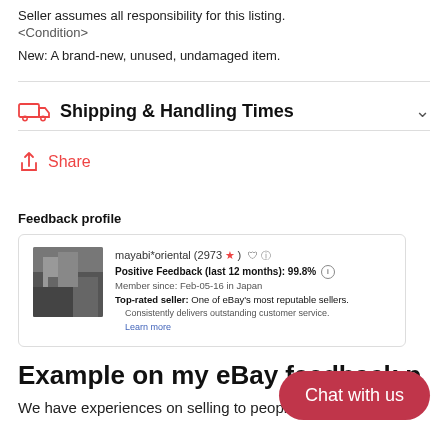Seller assumes all responsibility for this listing.
<Condition>
New: A brand-new, unused, undamaged item.
Shipping & Handling Times
Share
Feedback profile
[Figure (screenshot): eBay seller feedback profile card for mayabi*oriental with 2973 stars, 99.8% positive feedback last 12 months, member since Feb-05-16 in Japan, top-rated seller badge.]
Example on my eBay feedback p
We have experiences on selling to people overseas as
Chat with us